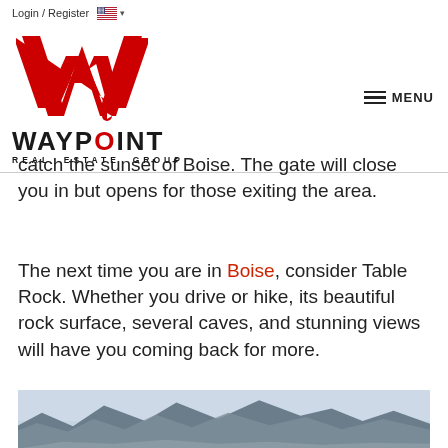Login / Register
[Figure (logo): Waypoint Real Estate Group logo with red W and company name]
catch the sunset of Boise. The gate will close you in but opens for those exiting the area.
The next time you are in Boise, consider Table Rock. Whether you drive or hike, its beautiful rock surface, several caves, and stunning views will have you coming back for more.
[Figure (photo): Mountain landscape with blue-grey hazy mountains and overcast sky]